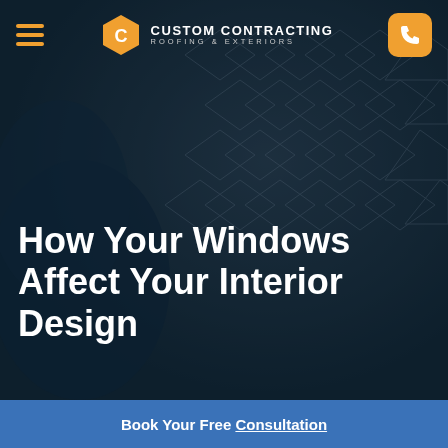[Figure (screenshot): Dark overlay hero image showing roofing/shingles texture with a glove, used as website background]
Custom Contracting Roofing & Exteriors
How Your Windows Affect Your Interior Design
Book Your Free Consultation